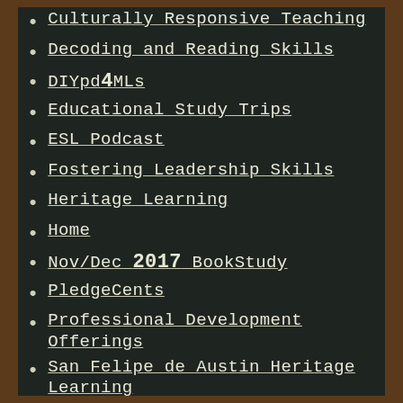Culturally Responsive Teaching
Decoding and Reading Skills
DIYpd4MLs
Educational Study Trips
ESL Podcast
Fostering Leadership Skills
Heritage Learning
Home
Nov/Dec 2017 BookStudy
PledgeCents
Professional Development Offerings
San Felipe de Austin Heritage Learning
Sports
Techfugees